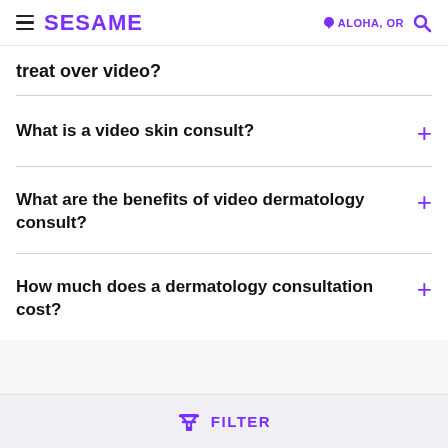SESAME | ALOHA, OR
treat over video?
What is a video skin consult?
What are the benefits of video dermatology consult?
How much does a dermatology consultation cost?
FILTER